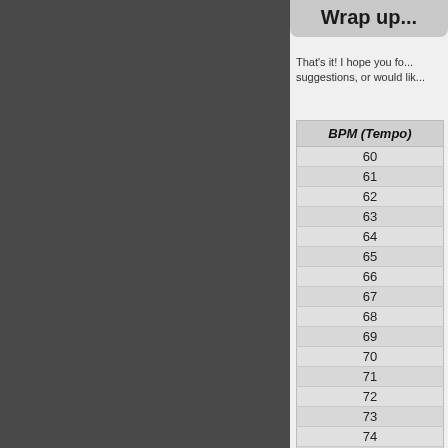Wrap up...
That's it! I hope you fo... suggestions, or would lik...
| BPM (Tempo) |
| --- |
| 60 |
| 61 |
| 62 |
| 63 |
| 64 |
| 65 |
| 66 |
| 67 |
| 68 |
| 69 |
| 70 |
| 71 |
| 72 |
| 73 |
| 74 |
| 75 |
| 76 |
| 77 |
| 78 |
| 79 |
| 80 |
| 81 |